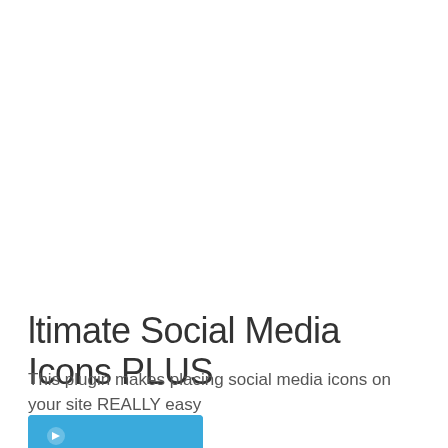ltimate Social Media Icons PLUS
This plugin makes placing social media icons on your site REALLY easy
[Figure (other): Blue download/action button with icon, partially visible at bottom of page]